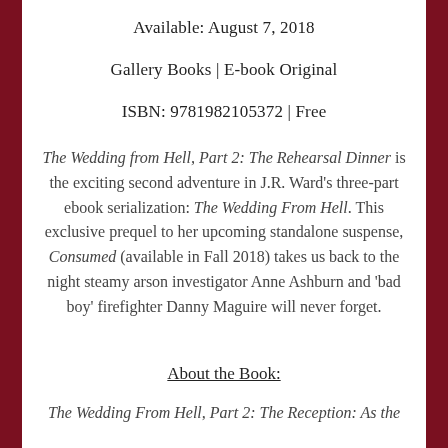Available: August 7, 2018
Gallery Books | E-book Original
ISBN: 9781982105372 | Free
The Wedding from Hell, Part 2: The Rehearsal Dinner is the exciting second adventure in J.R. Ward's three-part ebook serialization: The Wedding From Hell. This exclusive prequel to her upcoming standalone suspense, Consumed (available in Fall 2018) takes us back to the night steamy arson investigator Anne Ashburn and 'bad boy' firefighter Danny Maguire will never forget.
About the Book:
The Wedding From Hell, Part 2: The Reception: As the